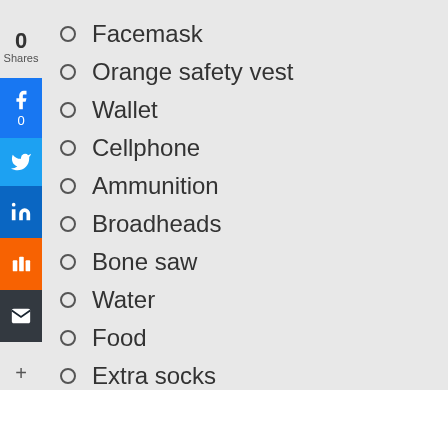Facemask
Orange safety vest
Wallet
Cellphone
Ammunition
Broadheads
Bone saw
Water
Food
Extra socks